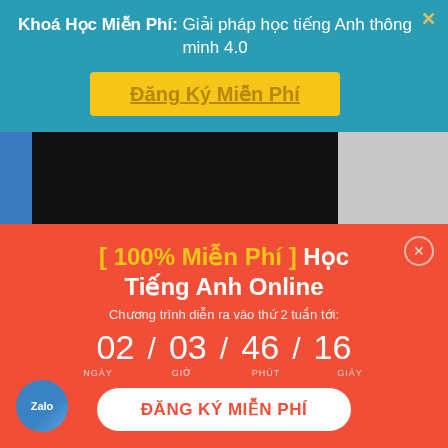Khoá Học Miễn Phí: Giải pháp học tiếng Anh thông minh 4.0
Đăng Ký Miễn Phí
[Figure (photo): Partially obscured photo showing a person, with a black redacted section in the center and a blue vertical strip on the left.]
[ 100% Miễn Phí ] Học Tiếng Anh Online
Chương trình diễn ra vào thứ 2 tuần tới:
02 / 03 / 46 / 16
NGÀY  GIỜ  PHÚT  GIÂY
ĐĂNG KÝ MIỄN PHÍ